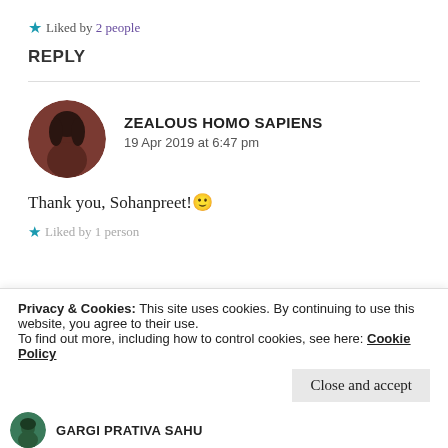★ Liked by 2 people
REPLY
[Figure (photo): Circular avatar photo of Zealous Homo Sapiens commenter, reddish-brown toned portrait]
ZEALOUS HOMO SAPIENS
19 Apr 2019 at 6:47 pm
Thank you, Sohanpreet! 🙂
★ Liked by 1 person
Privacy & Cookies: This site uses cookies. By continuing to use this website, you agree to their use.
To find out more, including how to control cookies, see here: Cookie Policy
Close and accept
GARGI PRATIVA SAHU